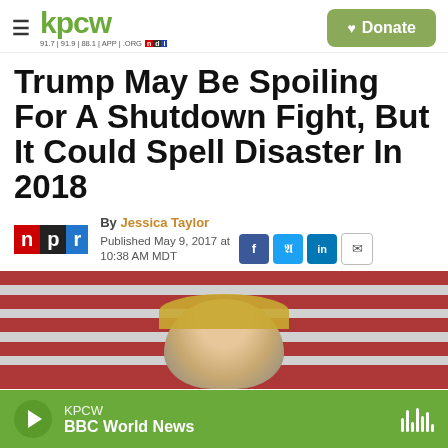kpcw — 91.7 | 91.9 | 88.1 | APP | .ORG — NPR | Donate
Trump May Be Spoiling For A Shutdown Fight, But It Could Spell Disaster In 2018
By Jessica Taylor
Published May 9, 2017 at 10:38 AM MDT
[Figure (photo): Photo of Donald Trump in front of American flags, partially visible]
KPCW — BBC World News (audio player bar)